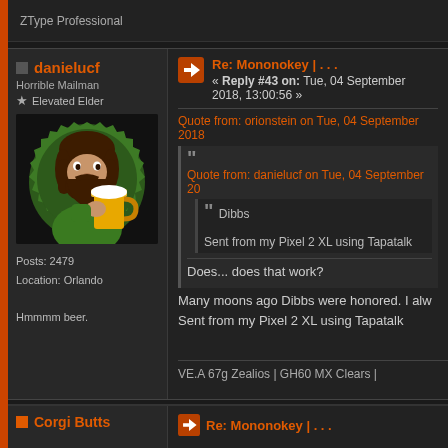ZType Professional
danielucf
Horrible Mailman
Elevated Elder
[Figure (illustration): Cartoon avatar of a bearded man holding a large beer mug, on a green circular badge with dark background]
Posts: 2479
Location: Orlando
Hmmmm beer.
Re: Mononokey | . . .
« Reply #43 on: Tue, 04 September 2018, 13:00:56 »
Quote from: orionstein on Tue, 04 September 2018
Quote from: danielucf on Tue, 04 September 20
Dibbs
Sent from my Pixel 2 XL using Tapatalk
Does... does that work?
Many moons ago Dibbs were honored. I alw
Sent from my Pixel 2 XL using Tapatalk
VE.A 67g Zealios | GH60 MX Clears |
Corgi Butts
Re: Mononokey | . . .